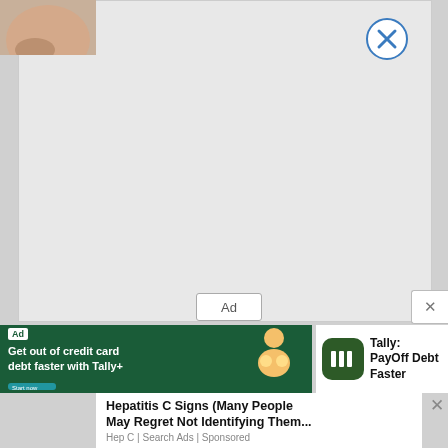[Figure (other): Large gray ad placeholder area with close button (circle with X) in top right corner]
Ad
[Figure (other): Green ad banner for Tally credit card payoff app with illustration and app icon]
Ad
Get out of credit card debt faster with Tally+
Tally: PayOff Debt Faster
[Figure (photo): Close-up photo of a person's arm/skin]
Hepatitis C Signs (Many People May Regret Not Identifying Them...
Hep C | Search Ads | Sponsored